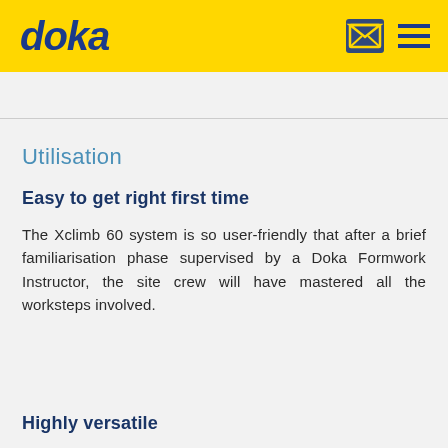doka
Utilisation
Easy to get right first time
The Xclimb 60 system is so user-friendly that after a brief familiarisation phase supervised by a Doka Formwork Instructor, the site crew will have mastered all the worksteps involved.
Highly versatile